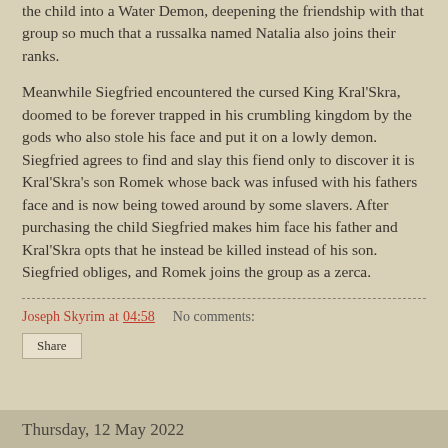the child into a Water Demon, deepening the friendship with that group so much that a russalka named Natalia also joins their ranks.
Meanwhile Siegfried encountered the cursed King Kral'Skra, doomed to be forever trapped in his crumbling kingdom by the gods who also stole his face and put it on a lowly demon. Siegfried agrees to find and slay this fiend only to discover it is Kral'Skra's son Romek whose back was infused with his fathers face and is now being towed around by some slavers. After purchasing the child Siegfried makes him face his father and Kral'Skra opts that he instead be killed instead of his son. Siegfried obliges, and Romek joins the group as a zerca.
Joseph Skyrim at 04:58    No comments:
Share
Thursday, 12 May 2022